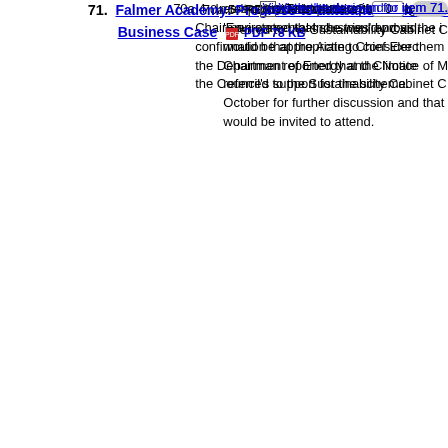as it coincided with a report being prep 'Environmental Industries' and as the i would be appropriate to consider them Chairman reported that the Notice of M referred to the Sustainability Cabinet C October for further discussion and that would be invited to attend.
70a.4  In response to a question from Councillo Chairman stated that she would provid confirmation that the Acting Chief Exec the Department of Energy and Climate the Council's support for the scheme.
70a.5  RESOLVED – That the Notice of M referred to the Sustainability Cabinet C
71.  Falmer Academy: Progress to date and submissio Business Case PDF 78 KB
This matters? 0
View the background to item 71.
View the decision for item 71.